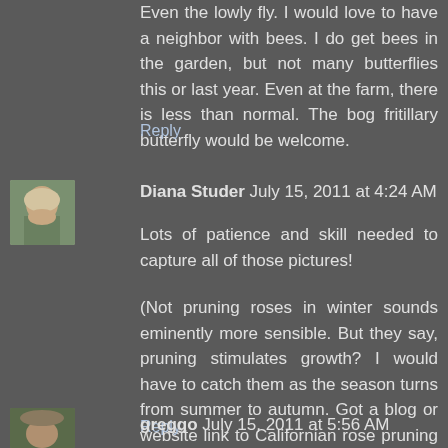Even the lowly fly. I would love to have a neighbor with bees. I do get bees in the garden, but not many butterflies this or last year. Even at the farm, there is less than normal. The bog fritillary butterfly would be welcome.
Reply
[Figure (photo): Avatar photo of Diana Studer, showing a woman with short grey/blonde hair]
Diana Studer  July 15, 2011 at 4:24 AM
Lots of patience and skill needed to capture all of those pictures!
(Not pruning roses in winter sounds eminently more sensible. But they say, pruning stimulates growth? I would have to catch them as the season turns from summer to autumn. Got a blog or website link to Californian rose pruning in summer for me? What do you do about pruning?)
Reply
[Figure (photo): Avatar photo of greggo, showing a person wearing a hat]
greggo  July 15, 2011 at 5:56 AM